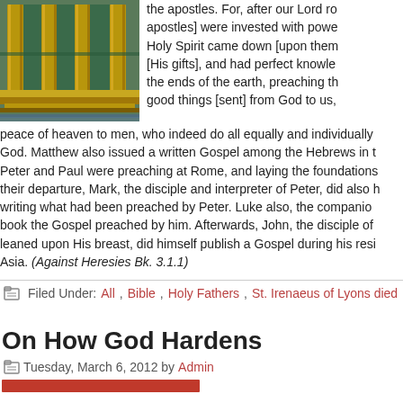[Figure (photo): Mosaic or decorative architectural image with golden columns and green tiles]
the apostles. For, after our Lord rose apostles] were invested with power Holy Spirit came down [upon them [His gifts], and had perfect knowle the ends of the earth, preaching th good things [sent] from God to us, peace of heaven to men, who indeed do all equally and individually God. Matthew also issued a written Gospel among the Hebrews in t Peter and Paul were preaching at Rome, and laying the foundations their departure, Mark, the disciple and interpreter of Peter, did also h writing what had been preached by Peter. Luke also, the companion book the Gospel preached by him. Afterwards, John, the disciple of leaned upon His breast, did himself publish a Gospel during his resi Asia. (Against Heresies Bk. 3.1.1)
Filed Under: All, Bible, Holy Fathers, St. Irenaeus of Lyons died
On How God Hardens
Tuesday, March 6, 2012 by Admin